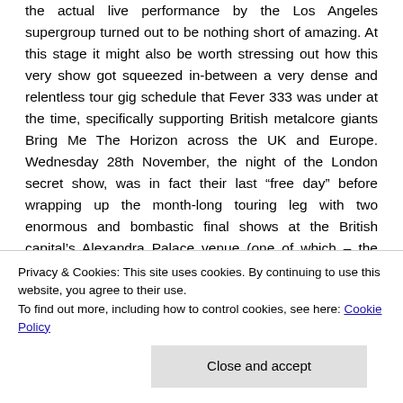the actual live performance by the Los Angeles supergroup turned out to be nothing short of amazing. At this stage it might also be worth stressing out how this very show got squeezed in-between a very dense and relentless tour gig schedule that Fever 333 was under at the time, specifically supporting British metalcore giants Bring Me The Horizon across the UK and Europe. Wednesday 28th November, the night of the London secret show, was in fact their last “free day” before wrapping up the month-long touring leg with two enormous and bombastic final shows at the British capital’s Alexandra Palace venue (one of which – the Friday 30th one – I subsequently planned to attend
Privacy & Cookies: This site uses cookies. By continuing to use this website, you agree to their use.
To find out more, including how to control cookies, see here: Cookie Policy
praiseworthy tradition the group has been